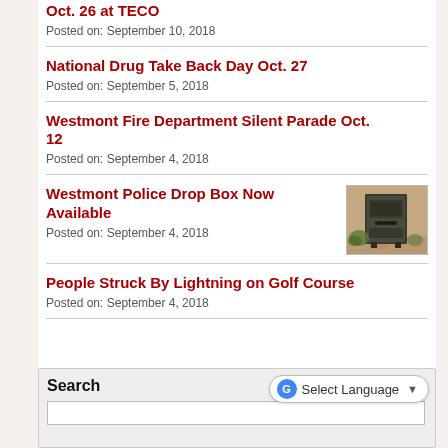Oct. 26 at TECO
Posted on: September 10, 2018
National Drug Take Back Day Oct. 27
Posted on: September 5, 2018
Westmont Fire Department Silent Parade Oct. 12
Posted on: September 4, 2018
Westmont Police Drop Box Now Available
[Figure (photo): Photo of a police drop box, a dark metal unit mounted near a brick wall with greenery visible]
Posted on: September 4, 2018
People Struck By Lightning on Golf Course
Posted on: September 4, 2018
Search
Select Language